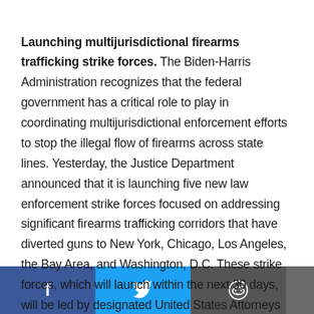Launching multijurisdictional firearms trafficking strike forces. The Biden-Harris Administration recognizes that the federal government has a critical role to play in coordinating multijurisdictional enforcement efforts to stop the illegal flow of firearms across state lines. Yesterday, the Justice Department announced that it is launching five new law enforcement strike forces focused on addressing significant firearms trafficking corridors that have diverted guns to New York, Chicago, Los Angeles, the Bay Area, and Washington, D.C. These strike forces, which will launch within the next 30 days, will be led by designated United States Attorneys who will coordinate not only with ATF but also with state and [others in places where [the they are used to commit